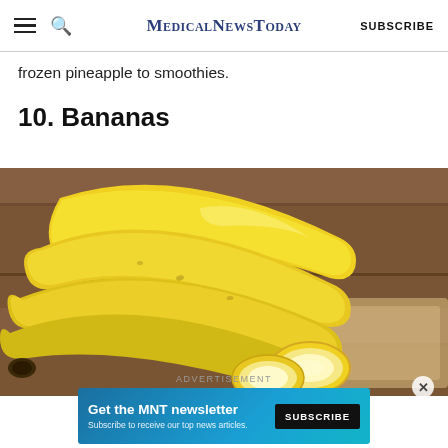MedicalNewsToday | SUBSCRIBE
frozen pineapple to smoothies.
10. Bananas
[Figure (photo): A bunch of yellow bananas and banana slices arranged on a wooden cutting board surface.]
ADVERTISEMENT
Get the MNT newsletter
Subscribe to receive our top news articles.
SUBSCRIBE